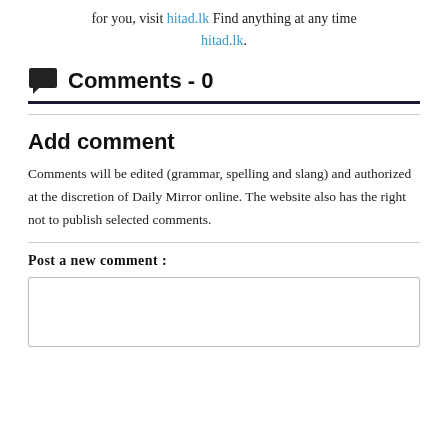for you, visit hitad.lk Find anything at any time hitad.lk.
Comments - 0
Add comment
Comments will be edited (grammar, spelling and slang) and authorized at the discretion of Daily Mirror online. The website also has the right not to publish selected comments.
Post a new comment :